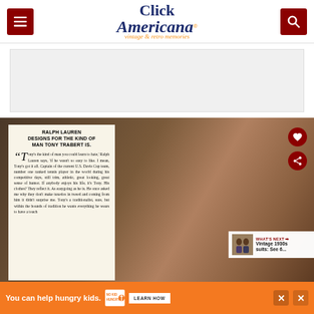Click Americana — vintage & retro memories
[Figure (screenshot): Click Americana website header with dark red menu button, logo, and search button]
[Figure (photo): Advertisement area placeholder (gray box)]
[Figure (photo): Vintage magazine article showing man in suit with article overlay: 'RALPH LAUREN DESIGNS FOR THE KIND OF MAN TONY TRABERT IS.' with article text beginning 'Tony's the kind of man you could learn to hate.' Ralph Lauren says, 'if he wasn't so easy to like. I mean, Tony's got it all. Captain of the current U.S. Davis Cup team, number one ranked tennis player in the world during his competitive days, still trim, athletic, great looking, great sense of humor. If anybody enjoys his life, it's Tony. His clothes? They reflect it. As easygoing as he is. He once asked me why they don't make tuxedos in tweed and coming from him it didn't surprise me. Tony's a traditionalist, sure, but within the bounds of tradition he wants everything he wears to have a touch']
WHAT'S NEXT → Vintage 1930s suits: See 6...
You can help hungry kids. NO KID HUNGRY LEARN HOW